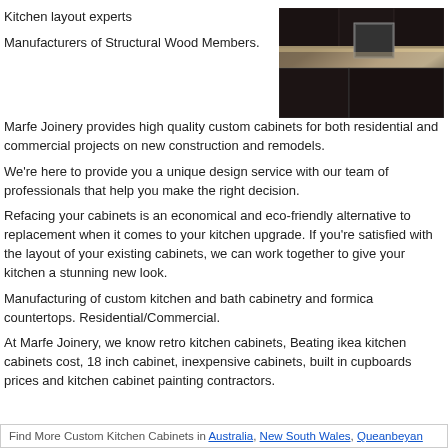Kitchen layout experts
Manufacturers of Structural Wood Members.
[Figure (photo): Photo of dark kitchen cabinetry with overhead cabinets and appliances]
Marfe Joinery provides high quality custom cabinets for both residential and commercial projects on new construction and remodels.
We're here to provide you a unique design service with our team of professionals that help you make the right decision.
Refacing your cabinets is an economical and eco-friendly alternative to replacement when it comes to your kitchen upgrade. If you're satisfied with the layout of your existing cabinets, we can work together to give your kitchen a stunning new look.
Manufacturing of custom kitchen and bath cabinetry and formica countertops. Residential/Commercial.
At Marfe Joinery, we know retro kitchen cabinets, Beating ikea kitchen cabinets cost, 18 inch cabinet, inexpensive cabinets, built in cupboards prices and kitchen cabinet painting contractors.
Find More Custom Kitchen Cabinets in Australia, New South Wales, Queanbeyan